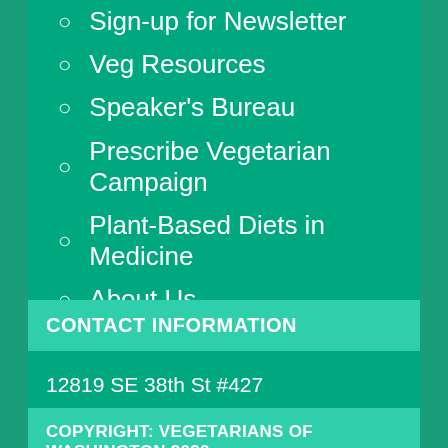Sign-up for Newsletter
Veg Resources
Speaker's Bureau
Prescribe Vegetarian Campaign
Plant-Based Diets in Medicine
About Us
Contact Us
CONTACT INFORMATION
12819 SE 38th St #427
Bellevue, WA 98006
206 706-2635
COPYRIGHT: VEGETARIANS OF WASHINGTON 2020